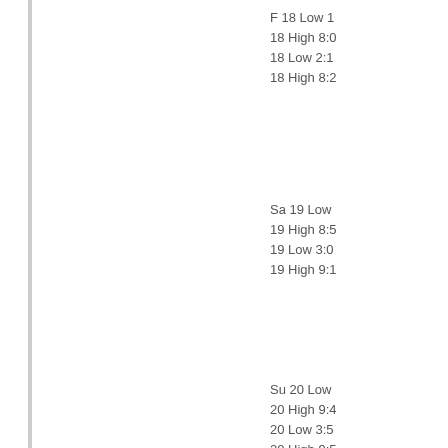F 18 Low 1
18 High 8:0
18 Low 2:1
18 High 8:2
Sa 19 Low
19 High 8:5
19 Low 3:0
19 High 9:1
Su 20 Low
20 High 9:4
20 Low 3:5
20 High 9:5
M 21 Low 4
21 High 10:
21 Low 4:4
21 High 10:
Tu 22 Low
22 High 11:
22 Low 5:3
22 High 11:
W 23 Low 5
23 High 12:
23 Low 6:2
Th 24 High